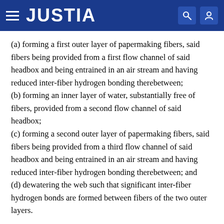JUSTIA
(a) forming a first outer layer of papermaking fibers, said fibers being provided from a first flow channel of said headbox and being entrained in an air stream and having reduced inter-fiber hydrogen bonding therebetween;
(b) forming an inner layer of water, substantially free of fibers, provided from a second flow channel of said headbox;
(c) forming a second outer layer of papermaking fibers, said fibers being provided from a third flow channel of said headbox and being entrained in an air stream and having reduced inter-fiber hydrogen bonding therebetween; and
(d) dewatering the web such that significant inter-fiber hydrogen bonds are formed between fibers of the two outer layers.